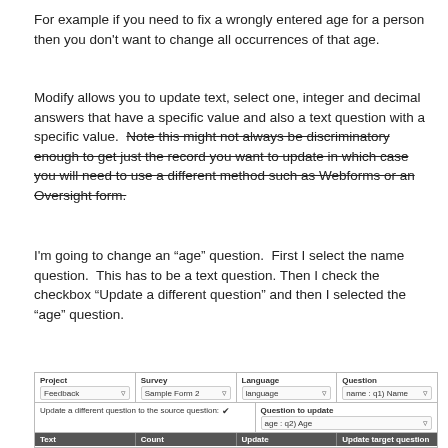For example if you need to fix a wrongly entered age for a person then you don't want to change all occurrences of that age.
Modify allows you to update text, select one, integer and decimal answers that have a specific value and also a text question with a specific value.  Note this might not always be discriminatory enough to get just the record you want to update in which case you will need to use a different method such as Webforms or an Oversight form. [strikethrough on the Note... sentence]
I'm going to change an “age” question.  First I select the name question.  This has to be a text question. Then I check the checkbox “Update a different question” and then I selected the “age” question.
[Figure (screenshot): A form screenshot showing fields: Project (Feedback), Survey (Sample Form 2), Language (language), Question (name : q1) Name); a row with 'Update a different question to the source question' checkbox checked, and 'Question to update: age : q2) Age'; a dark header row with columns: Text, Count, Update, Update target question.]